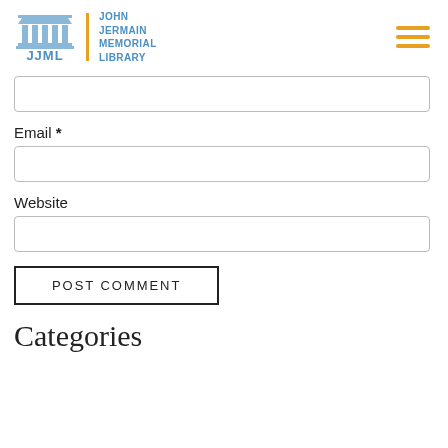JJML | JOHN JERMAIN MEMORIAL LIBRARY
Email *
Website
POST COMMENT
Categories